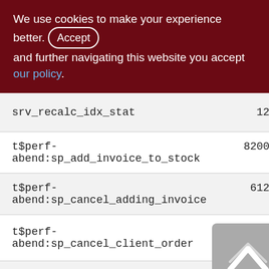We use cookies to make your experience better. By accepting and further navigating this website you accept our policy.
| Name | Value1 | Value2 |
| --- | --- | --- |
| srv_recalc_idx_stat | 12 |  |
| t$perf-abend:sp_add_invoice_to_stock | 8200 | 82 |
| t$perf-abend:sp_cancel_adding_invoice | 612 | 6 |
| t$perf-abend:sp_cancel_client_order | 148 | 1 |
| t$perf-abend:sp_cancel_customer_reserve | 33 |  |